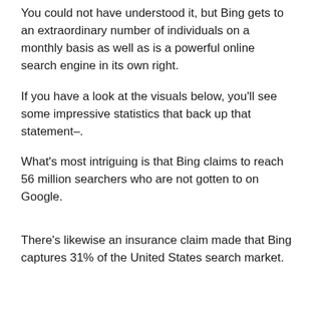You could not have understood it, but Bing gets to an extraordinary number of individuals on a monthly basis as well as is a powerful online search engine in its own right.
If you have a look at the visuals below, you'll see some impressive statistics that back up that statement–.
What's most intriguing is that Bing claims to reach 56 million searchers who are not gotten to on Google.
There's likewise an insurance claim made that Bing captures 31% of the United States search market.